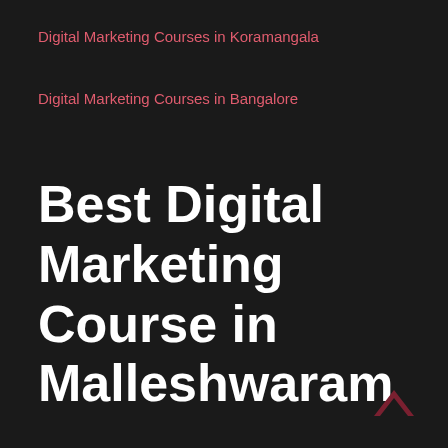Digital Marketing Courses in Koramangala
Digital Marketing Courses in Bangalore
Best Digital Marketing Course in Malleshwaram
[Figure (illustration): Dark red/maroon upward-pointing chevron/caret icon in bottom-right corner]